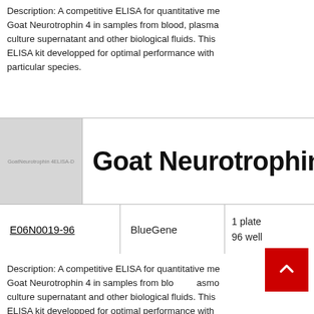Description: A competitive ELISA for quantitative measurement of Goat Neurotrophin 4 in samples from blood, plasma, serum, cell culture supernatant and other biological fluids. This is a high quality ELISA kit developped for optimal performance with samples from the particular species.
[Figure (photo): Product image placeholder for Goat Neurotrophin 4 ELISA kit, light gray box with small text label 'GoatNeurotrophin 4 ELISA-D']
Goat Neurotrophin
| Product Code | Supplier | Quantity |
| --- | --- | --- |
| E06N0019-96 | BlueGene | 1 plate
96 wells |
Description: A competitive ELISA for quantitative measurement of Goat Neurotrophin 4 in samples from blood, plasma, serum, cell culture supernatant and other biological fluids. This is a high quality ELISA kit developped for optimal performance with